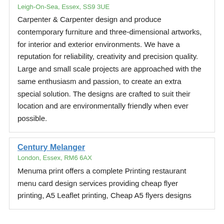Carpenter and Carpenter
Leigh-On-Sea, Essex, SS9 3UE
Carpenter & Carpenter design and produce contemporary furniture and three-dimensional artworks, for interior and exterior environments. We have a reputation for reliability, creativity and precision quality. Large and small scale projects are approached with the same enthusiasm and passion, to create an extra special solution. The designs are crafted to suit their location and are environmentally friendly when ever possible.
Century Melanger
London, Essex, RM6 6AX
Menuma print offers a complete Printing restaurant menu card design services providing cheap flyer printing, A5 Leaflet printing, Cheap A5 flyers designs